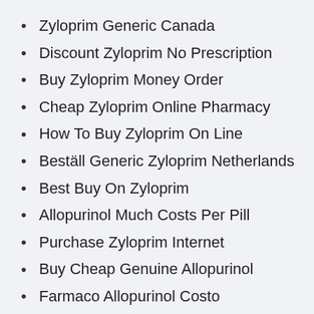Zyloprim Generic Canada
Discount Zyloprim No Prescription
Buy Zyloprim Money Order
Cheap Zyloprim Online Pharmacy
How To Buy Zyloprim On Line
Beställ Generic Zyloprim Netherlands
Best Buy On Zyloprim
Allopurinol Much Costs Per Pill
Purchase Zyloprim Internet
Buy Cheap Genuine Allopurinol
Farmaco Allopurinol Costo
Discount Generic Zyloprim
Allopurinol Original Sale
Allopurinol Ordering Prescription Online
Order Generic Zyloprim Los Angeles